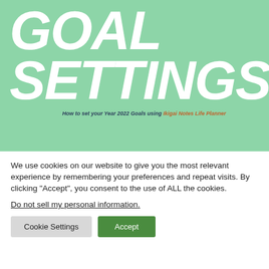[Figure (illustration): Green banner background with large bold italic white text reading 'GOAL SETTINGS' and subtitle 'How to set your Year 2022 Goals using Ikigai Notes Life Planner' in dark and orange text]
GOAL SETTINGS
How to set your Year 2022 Goals using Ikigai Notes Life Planner
We use cookies on our website to give you the most relevant experience by remembering your preferences and repeat visits. By clicking “Accept”, you consent to the use of ALL the cookies.
Do not sell my personal information.
Cookie Settings    Accept